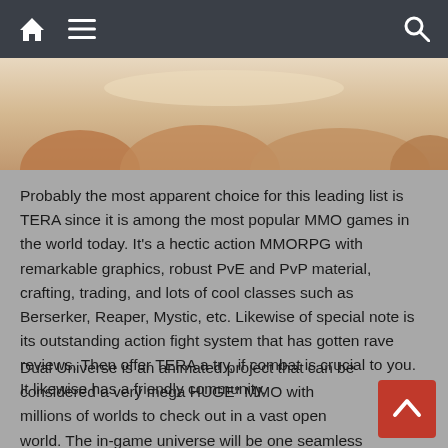Navigation bar with home, menu, and search icons
[Figure (photo): Partial photo showing hands/fingers, cropped at top]
Probably the most apparent choice for this leading list is TERA since it is among the most popular MMO games in the world today. It's a hectic action MMORPG with remarkable graphics, robust PvE and PvP material, crafting, trading, and lots of cool classes such as Berserker, Reaper, Mystic, etc. Likewise of special note is its outstanding action fight system that has gotten rave reviews. Then offer TERA a try, if combat is crucial to you. It likewise has a friendly community.
Dual Universe is an animated project that can be considered a very mega HUGE" MMO with millions of worlds to check out in a vast open world. The in-game universe will be one seamless single-shard location fueled by voxel technology where players can develop ships, satellites, cities, spaceport station, mining colonies, and more.